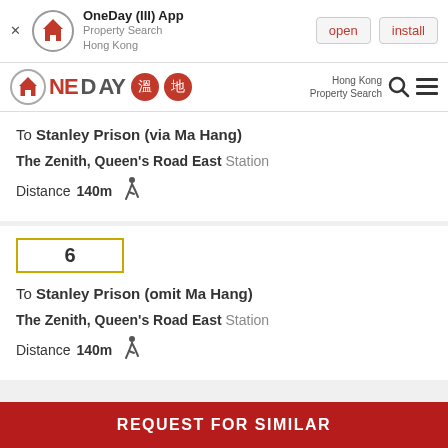[Figure (screenshot): App install banner for OneDay (III) App - Property Search Hong Kong, with open and install buttons]
[Figure (logo): OneDay property search Hong Kong logo with Chinese characters and navigation icons]
To Stanley Prison (via Ma Hang)
The Zenith, Queen's Road East Station
Distance 140m
6
To Stanley Prison (omit Ma Hang)
The Zenith, Queen's Road East Station
Distance 140m
REQUEST FOR SIMILAR